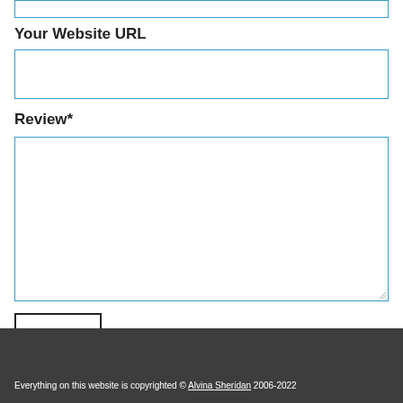Your Website URL
Review*
SEND
Everything on this website is copyrighted © Alvina Sheridan 2006-2022